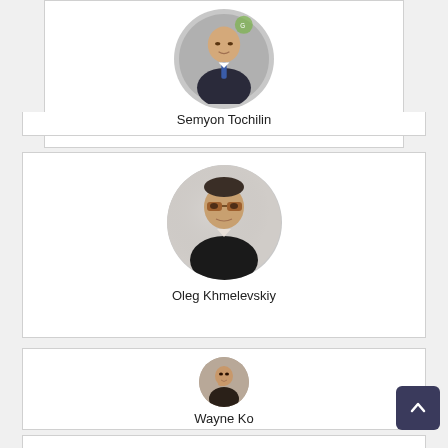[Figure (photo): Circular profile photo of Semyon Tochilin, a man in a suit and tie]
Semyon Tochilin
[Figure (photo): Circular profile photo of Oleg Khmelevskiy, a man with glasses wearing a dark jacket]
Oleg Khmelevskiy
[Figure (photo): Circular profile photo of Wayne Ko, a man in a suit with hand on chin]
Wayne Ko
[Figure (photo): Partially visible circular profile photo of a fourth person]